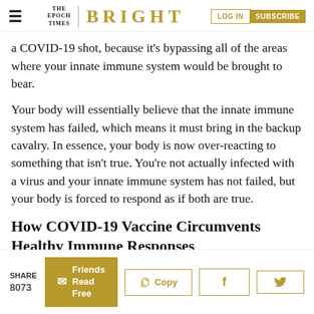THE EPOCH TIMES | BRIGHT | LOG IN | SUBSCRIBE
a COVID-19 shot, because it’s bypassing all of the areas where your innate immune system would be brought to bear.
Your body will essentially believe that the innate immune system has failed, which means it must bring in the backup cavalry. In essence, your body is now over-reacting to something that isn’t true. You’re not actually infected with a virus and your innate immune system has not failed, but your body is forced to respond as if both are true.
How COVID-19 Vaccine Circumvents Healthy Immune Responses
SHARE 8073 | Friends Read Free | Copy | f | 🐦